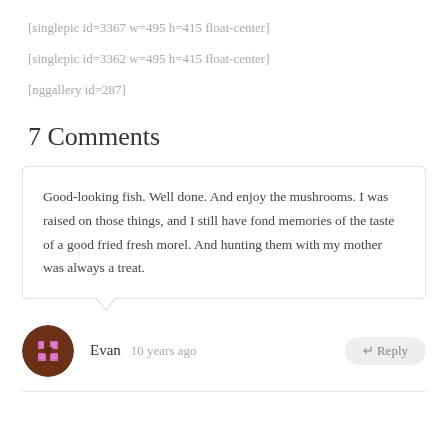[singlepic id=3367 w=495 h=415 float-center]
[singlepic id=3362 w=495 h=415 float-center]
[nggallery id=287]
7 Comments
Good-looking fish. Well done. And enjoy the mushrooms. I was raised on those things, and I still have fond memories of the taste of a good fried fresh morel. And hunting them with my mother was always a treat.
Evan  10 years ago